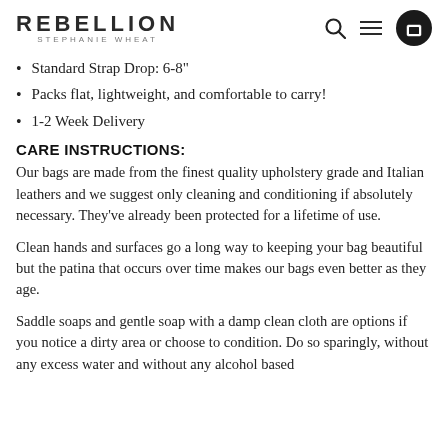REBELLION STEPHANIE WHEAT
Standard Strap Drop: 6-8"
Packs flat, lightweight, and comfortable to carry!
1-2 Week Delivery
CARE INSTRUCTIONS:
Our bags are made from the finest quality upholstery grade and Italian leathers and we suggest only cleaning and conditioning if absolutely necessary. They've already been protected for a lifetime of use.
Clean hands and surfaces go a long way to keeping your bag beautiful but the patina that occurs over time makes our bags even better as they age.
Saddle soaps and gentle soap with a damp clean cloth are options if you notice a dirty area or choose to condition. Do so sparingly, without any excess water and without any alcohol based